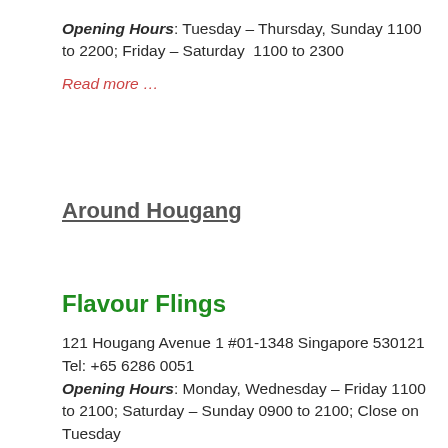Opening Hours: Tuesday – Thursday, Sunday 1100 to 2200; Friday – Saturday  1100 to 2300
Read more …
Around Hougang
Flavour Flings
121 Hougang Avenue 1 #01-1348 Singapore 530121
Tel: +65 6286 0051
Opening Hours: Monday, Wednesday – Friday 1100 to 2100; Saturday – Sunday 0900 to 2100; Close on Tuesday